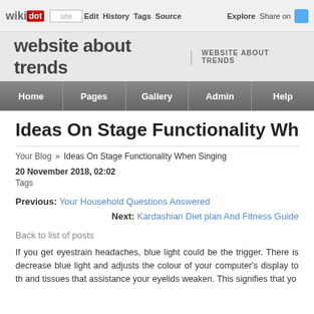wikidot | site | Edit | History | Tags | Source | Explore | Share on [Twitter]
website about trends | WEBSITE ABOUT TRENDS
Home | Pages | Gallery | Admin | Help
Ideas On Stage Functionality When Singing
Your Blog » Ideas On Stage Functionality When Singing
20 November 2018, 02:02
Tags
Previous: Your Household Questions Answered
Next: Kardashian Diet plan And Fitness Guide
Back to list of posts
If you get eyestrain headaches, blue light could be the trigger. There is decrease blue light and adjusts the colour of your computer's display to th and tissues that assistance your eyelids weaken. This signifies that yo